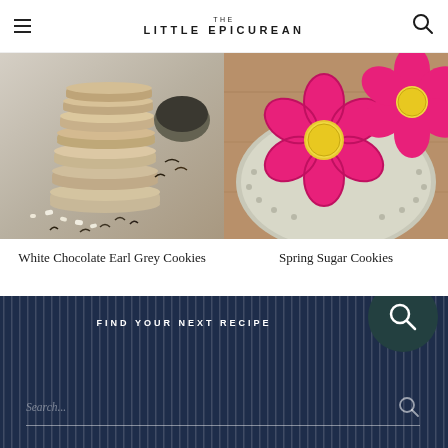THE LITTLE EPICUREAN
[Figure (photo): Stack of white chocolate Earl Grey cookies on a light surface with scattered white chocolate chips and loose tea leaves]
[Figure (photo): Pink flower-shaped spring sugar cookies with yellow centers on a pale green plate on a wood surface]
White Chocolate Earl Grey Cookies
Spring Sugar Cookies
FIND YOUR NEXT RECIPE
Search...